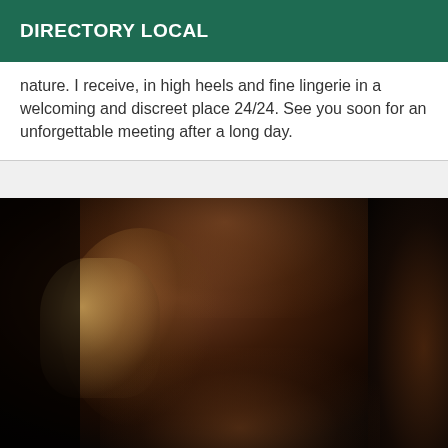DIRECTORY LOCAL
nature. I receive, in high heels and fine lingerie in a welcoming and discreet place 24/24. See you soon for an unforgettable meeting after a long day.
[Figure (photo): Dark atmospheric close-up photograph showing gloved hands holding a wine glass against a skin-toned background]